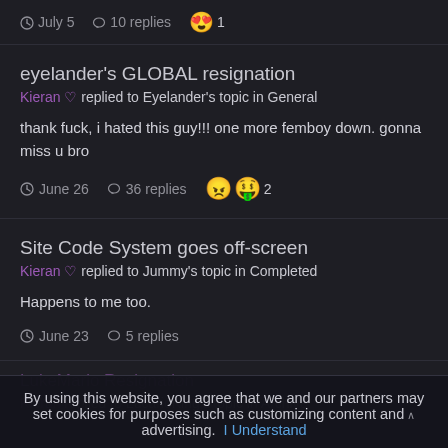July 5  10 replies  😍 1
eyelander's GLOBAL resignation
Kieran ♡ replied to Eyelander's topic in General
thank fuck, i hated this guy!!! one more femboy down. gonna miss u bro
June 26  36 replies  😡😆 2
Site Code System goes off-screen
Kieran ♡ replied to Jummy's topic in Completed
Happens to me too.
June 23  5 replies
By using this website, you agree that we and our partners may set cookies for purposes such as customizing content and advertising.  I Understand
LukeMario Resignation
Kieran  replied to LucarioKing's topic in Archive